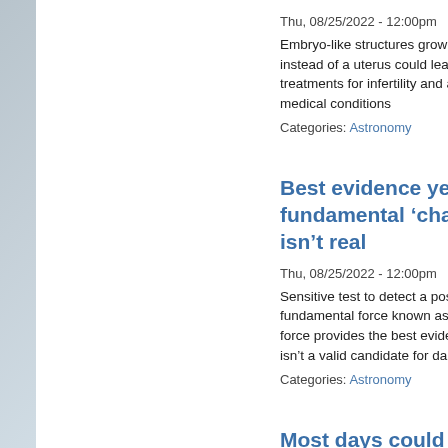Thu, 08/25/2022 - 12:00pm
Embryo-like structures grown in an i instead of a uterus could lead to bett treatments for infertility and a range medical conditions
Categories: Astronomy
Best evidence yet that fifth fundamental 'chameleon' force isn't real
Thu, 08/25/2022 - 12:00pm
Sensitive test to detect a possible fif fundamental force known as the cha force provides the best evidence yet isn't a valid candidate for dark energ
Categories: Astronomy
Most days could be dange hot for 5 billion people by
Thu, 08/25/2022 - 12:00pm
The majority of days every year coul dangerously hot in many parts of the